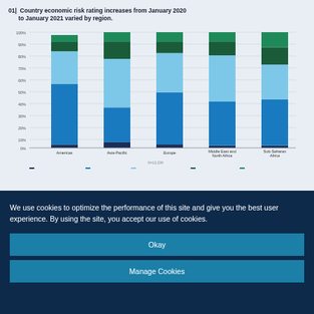[Figure (stacked-bar-chart): 01| Country economic risk rating increases from January 2020 to January 2021 varied by region.]
We use cookies to optimize the performance of this site and give you the best user experience. By using the site, you accept our use of cookies.